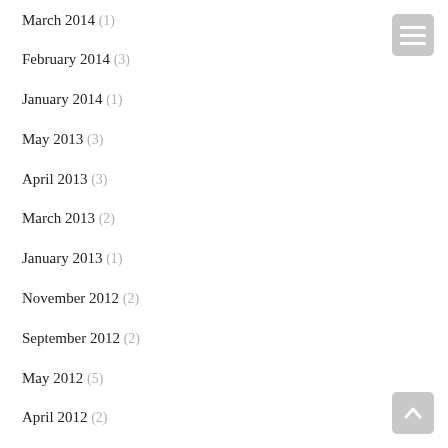March 2014 (1)
February 2014 (3)
January 2014 (1)
May 2013 (3)
April 2013 (3)
March 2013 (2)
January 2013 (1)
November 2012 (2)
September 2012 (2)
May 2012 (5)
April 2012 (2)
January 2012 (1)
November 2011 (1)
August 2011 (1)
May 2011 (1)
March 2011 (1)